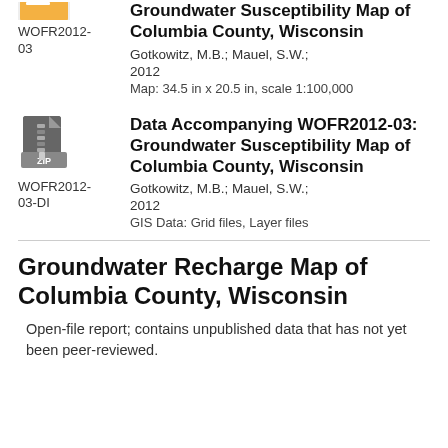Groundwater Susceptibility Map of Columbia County, Wisconsin
WOFR2012-03
Gotkowitz, M.B.; Mauel, S.W.;
2012
Map: 34.5 in x 20.5 in, scale 1:100,000
[Figure (illustration): ZIP file icon]
Data Accompanying WOFR2012-03: Groundwater Susceptibility Map of Columbia County, Wisconsin
WOFR2012-03-DI
Gotkowitz, M.B.; Mauel, S.W.;
2012
GIS Data: Grid files, Layer files
Groundwater Recharge Map of Columbia County, Wisconsin
Open-file report; contains unpublished data that has not yet been peer-reviewed.